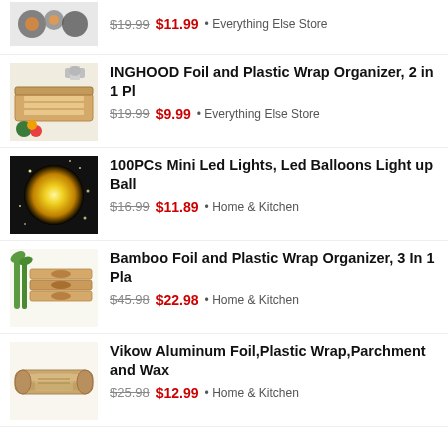$19.99 $11.99 · Everything Else Store
INGHOOD Foil and Plastic Wrap Organizer, 2 in 1 Pl — $19.99 $9.99 · Everything Else Store
100PCs Mini Led Lights, Led Balloons Light up Ball — $16.99 $11.89 · Home & Kitchen
Bamboo Foil and Plastic Wrap Organizer, 3 In 1 Pla — $45.98 $22.98 · Home & Kitchen
Vikow Aluminum Foil,Plastic Wrap,Parchment and Wax — $25.98 $12.99 · Home & Kitchen